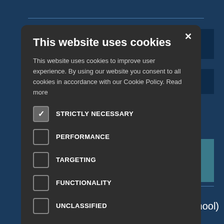[Figure (screenshot): Dark blue website background with horizontal lines and colored rectangles visible behind a cookie consent modal dialog]
This website uses cookies
This website uses cookies to improve user experience. By using our website you consent to all cookies in accordance with our Cookie Policy. Read more
STRICTLY NECESSARY (checked)
PERFORMANCE
TARGETING
FUNCTIONALITY
UNCLASSIFIED
ACCEPT ALL
SAVE & CLOSE
SHOW DETAILS
Office VBG 11